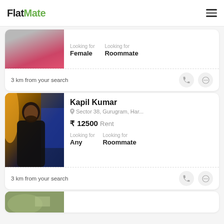FlatMate
[Figure (screenshot): Partial listing card showing a person - top is cut off, Looking for Female / Roommate, 3 km from your search]
3 km from your search
[Figure (photo): Photo of Kapil Kumar - man with beard in dim lighting with colorful background]
Kapil Kumar
Sector 38, Gurugram, Har...
₹ 12500 Rent
Looking for Any
Looking for Roommate
3 km from your search
[Figure (photo): Partial listing card at bottom - image partially visible]